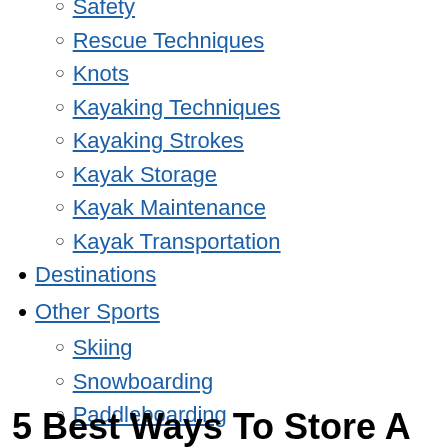Safety
Rescue Techniques
Knots
Kayaking Techniques
Kayaking Strokes
Kayak Storage
Kayak Maintenance
Kayak Transportation
Destinations
Other Sports
Skiing
Snowboarding
Paddleboarding
General
5 Best Ways To Store A